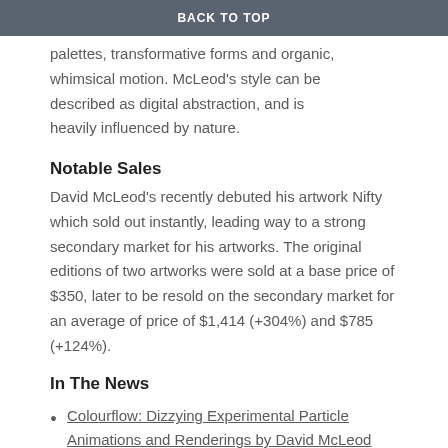palettes, transformative forms and organic, whimsical motion. McLeod's style can be described as digital abstraction, and is heavily influenced by nature.
Notable Sales
David McLeod's recently debuted his artwork Nifty which sold out instantly, leading way to a strong secondary market for his artworks. The original editions of two artworks were sold at a base price of $350, later to be resold on the secondary market for an average of price of $1,414 (+304%) and $785 (+124%).
In The News
Colourflow: Dizzying Experimental Particle Animations and Renderings by David McLeod